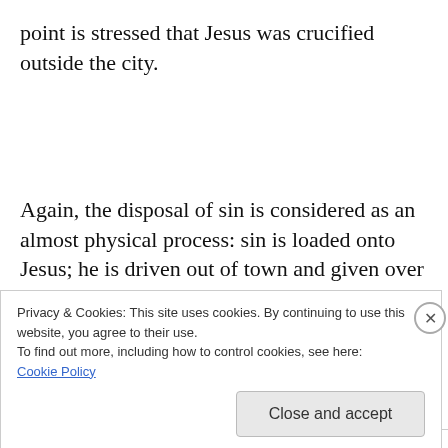point is stressed that Jesus was crucified outside the city.
Again, the disposal of sin is considered as an almost physical process: sin is loaded onto Jesus; he is driven out of town and given over to God’s curse.
Privacy & Cookies: This site uses cookies. By continuing to use this website, you agree to their use.
To find out more, including how to control cookies, see here: Cookie Policy
Close and accept